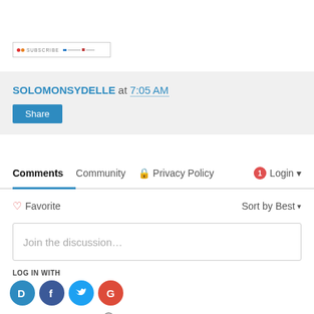[Figure (screenshot): Subscribe button/widget with colored dots and text]
SOLOMONSYDELLE at 7:05 AM
Share
Comments   Community   Privacy Policy   Login
Favorite   Sort by Best
Join the discussion…
LOG IN WITH
[Figure (logo): Social login icons: Disqus, Facebook, Twitter, Google]
OR SIGN UP WITH DISQUS ?